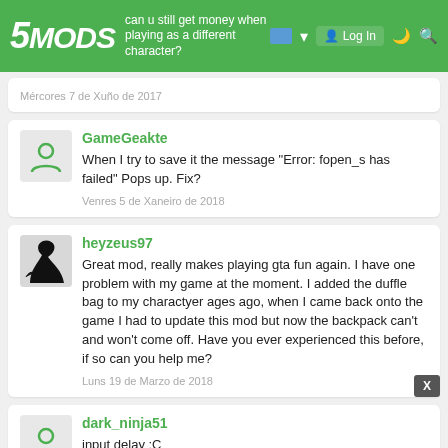5MODS - can u still get money when playing as a different character? - Log In
Mércores 7 de Xuño de 2017
GameGeakte
When I try to save it the message "Error: fopen_s has failed" Pops up. Fix?
Venres 5 de Xaneiro de 2018
heyzeus97
Great mod, really makes playing gta fun again. I have one problem with my game at the moment. I added the duffle bag to my charactyer ages ago, when I came back onto the game I had to update this mod but now the backpack can't and won't come off. Have you ever experienced this before, if so can you help me?
Luns 19 de Marzo de 2018
dark_ninja51
input delay :C